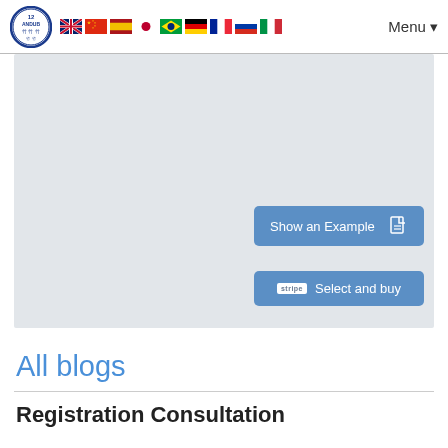[Figure (screenshot): Website navigation bar with circular logo, country flag icons (UK, China, Spain, Japan, Brazil, Germany, France, Russia, Italy), and a Menu dropdown button]
[Figure (screenshot): Light gray main content area with two blue buttons: 'Show an Example' with PDF icon, and 'Select and buy' with Stripe badge]
All blogs
Registration Consultation